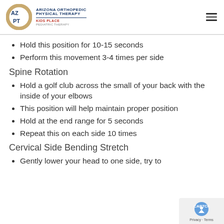Arizona Orthopedic Physical Therapy - Kids Place Pediatric Therapy
Hold this position for 10-15 seconds
Perform this movement 3-4 times per side
Spine Rotation
Hold a golf club across the small of your back with the inside of your elbows
This position will help maintain proper position
Hold at the end range for 5 seconds
Repeat this on each side 10 times
Cervical Side Bending Stretch
Gently lower your head to one side, try to